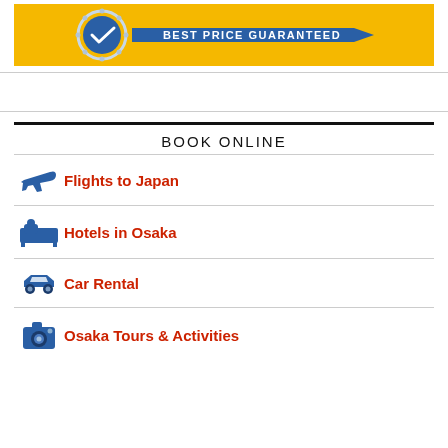[Figure (logo): Best Price Guaranteed badge on orange/yellow background banner]
BOOK ONLINE
Flights to Japan
Hotels in Osaka
Car Rental
Osaka Tours & Activities